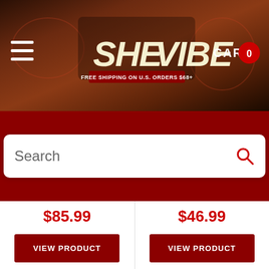[Figure (screenshot): SheVibe e-commerce website header with logo, hamburger menu, cart icon showing 0 items, red background with decorative artwork]
Search
$85.99
VIEW PRODUCT
$46.99
VIEW PRODUCT
CUSTOMERS ALSO VIEWED